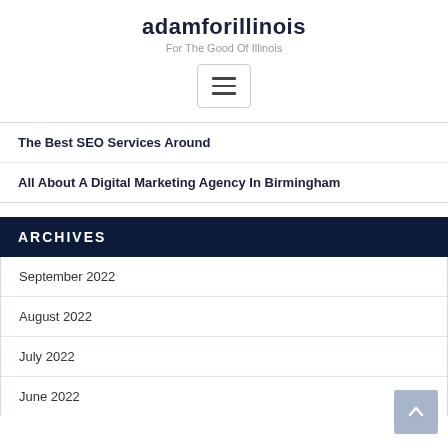adamforillinois
For The Good Of Illinois
[Figure (other): Hamburger menu button with three horizontal lines]
The Best SEO Services Around
All About A Digital Marketing Agency In Birmingham
ARCHIVES
September 2022
August 2022
July 2022
June 2022